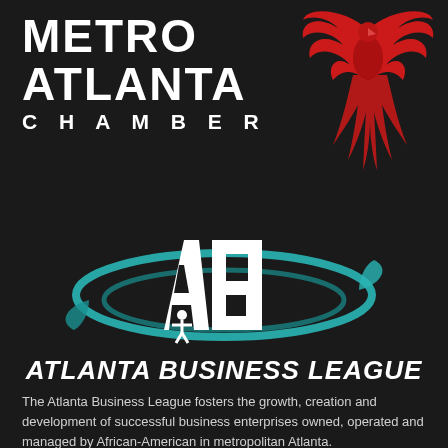[Figure (logo): Metro Atlanta Chamber logo with white bold text 'METRO ATLANTA CHAMBER' and a red phoenix bird illustration on the right]
[Figure (logo): Atlanta Business League logo: white 'AB' letterform with a figure icon, surrounded by teal/dark teal elliptical swirl rings on dark background]
ATLANTA BUSINESS LEAGUE
The Atlanta Business League fosters the growth, creation and development of successful business enterprises owned, operated and managed by African-American in metropolitan Atlanta.